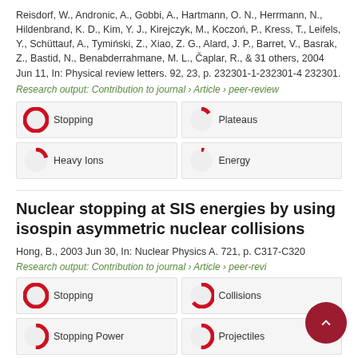Reisdorf, W., Andronic, A., Gobbi, A., Hartmann, O. N., Herrmann, N., Hildenbrand, K. D., Kim, Y. J., Kirejczyk, M., Koczoń, P., Kress, T., Leifels, Y., Schüttauf, A., Tymiński, Z., Xiao, Z. G., Alard, J. P., Barret, V., Basrak, Z., Bastid, N., Benabderrahmane, M. L., Čaplar, R., & 31 others, 2004 Jun 11, In: Physical review letters. 92, 23, p. 232301-1-232301-4 232301.
Research output: Contribution to journal › Article › peer-review
[Figure (infographic): Four keyword badges in 2x2 grid: Stopping (100%), Plateaus (~13%), Heavy Ions (~20%), Energy (~7%)]
Nuclear stopping at SIS energies by using isospin asymmetric nuclear collisions
Hong, B., 2003 Jun 30, In: Nuclear Physics A. 721, p. C317-C320
Research output: Contribution to journal › Article › peer-review
[Figure (infographic): Four keyword badges: Stopping (100%), Collisions (~65%), Stopping Power (~50%), Projectiles (~50%)]